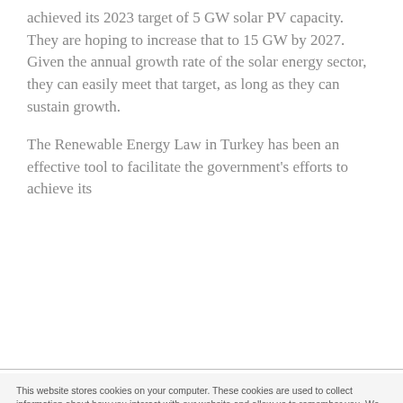achieved its 2023 target of 5 GW solar PV capacity. They are hoping to increase that to 15 GW by 2027. Given the annual growth rate of the solar energy sector, they can easily meet that target, as long as they can sustain growth.
The Renewable Energy Law in Turkey has been an effective tool to facilitate the government's efforts to achieve its
This website stores cookies on your computer. These cookies are used to collect information about how you interact with our website and allow us to remember you. We use this information in order to improve and customize your browsing experience and for analytics and metrics about our visitors both on this website and other media. To find out more about the cookies we use, see our Privacy Policy
If you decline, your information won't be tracked when you visit this website. A single cookie will be used in your browser to remember your preference not to be tracked.